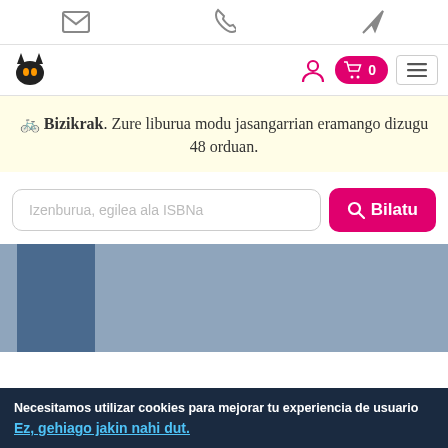Email | Phone | Location icons
[Figure (logo): Black cat/fox logo icon on the left; user icon, pink cart badge with 0, hamburger menu on the right]
🚲 Bizikrak. Zure liburua modu jasangarrian eramango dizugu 48 orduan.
Izenburua, egilea ala ISBNa [search input] Bilatu [button]
[Figure (photo): Partially visible book cover image with blue-grey tones and a darker blue vertical stripe on the left side]
Necesitamos utilizar cookies para mejorar tu experiencia de usuario
Ez, gehiago jakin nahi dut.